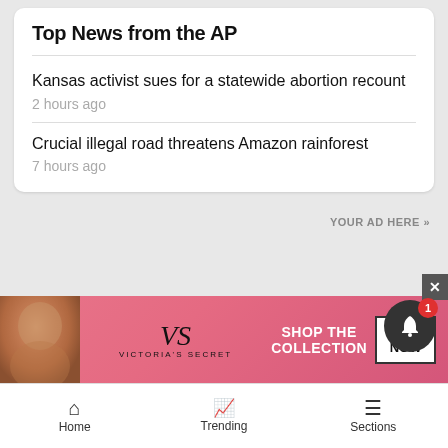Top News from the AP
Kansas activist sues for a statewide abortion recount
2 hours ago
Crucial illegal road threatens Amazon rainforest
7 hours ago
YOUR AD HERE »
[Figure (photo): Victoria's Secret advertisement banner with a model, VS logo, 'SHOP THE COLLECTION' text, and 'SHOP NOW' button on pink background]
Home   Trending   Sections